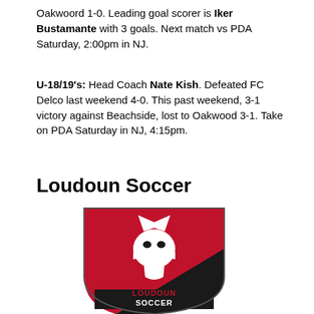Oakwoord 1-0. Leading goal scorer is Iker Bustamante with 3 goals. Next match vs PDA Saturday, 2:00pm in NJ.
U-18/19's: Head Coach Nate Kish. Defeated FC Delco last weekend 4-0. This past weekend, 3-1 victory against Beachside, lost to Oakwood 3-1. Take on PDA Saturday in NJ, 4:15pm.
Loudoun Soccer
[Figure (logo): Loudoun Soccer logo — a shield shape with black and red diagonal halves, a white fox head silhouette, and 'LOUDOUN SOCCER' text at the bottom in red with white outline.]